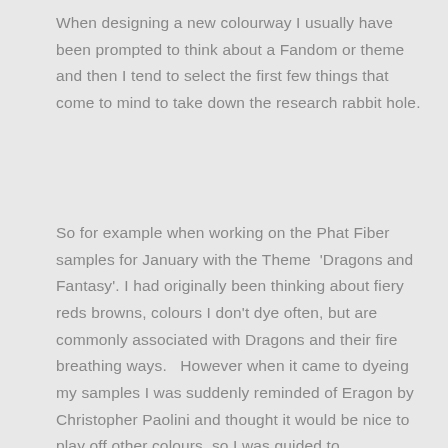When designing a new colourway I usually have been prompted to think about a Fandom or theme and then I tend to select the first few things that come to mind to take down the research rabbit hole.
So for example when working on the Phat Fiber samples for January with the Theme  'Dragons and Fantasy'. I had originally been thinking about fiery reds browns, colours I don't dye often, but are commonly associated with Dragons and their fire breathing ways.   However when it came to dyeing my samples I was suddenly reminded of Eragon by Christopher Paolini and thought it would be nice to play off other colours, so I was guided to